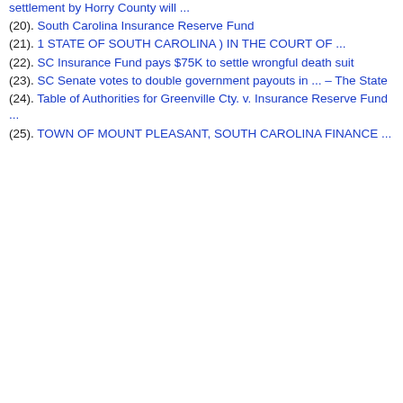settlement by Horry County will ...
(20). South Carolina Insurance Reserve Fund
(21). 1 STATE OF SOUTH CAROLINA ) IN THE COURT OF ...
(22). SC Insurance Fund pays $75K to settle wrongful death suit
(23). SC Senate votes to double government payouts in ... – The State
(24). Table of Authorities for Greenville Cty. v. Insurance Reserve Fund ...
(25). TOWN OF MOUNT PLEASANT, SOUTH CAROLINA FINANCE ...